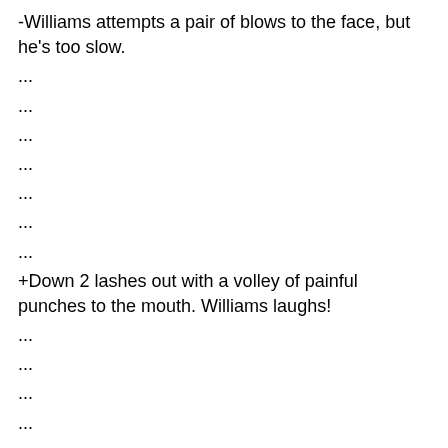-Williams attempts a pair of blows to the face, but he's too slow.
...
...
...
...
...
...
...
+Down 2 lashes out with a volley of painful punches to the mouth. Williams laughs!
...
...
...
...
...
...
...
+Down 2 drills Williams with a pair of stinging punches to